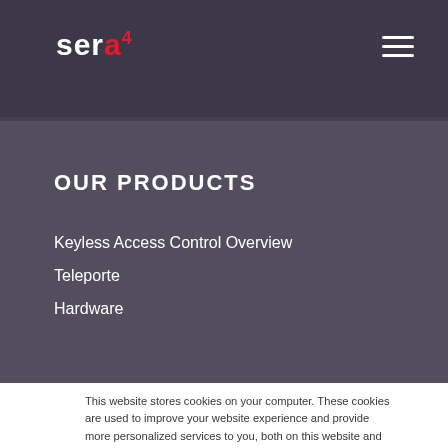sera4
OUR PRODUCTS
Keyless Access Control Overview
Teleporte
Hardware
This website stores cookies on your computer. These cookies are used to improve your website experience and provide more personalized services to you, both on this website and through other media. To find out more about the cookies we use, see our Privacy Policy.
Accept